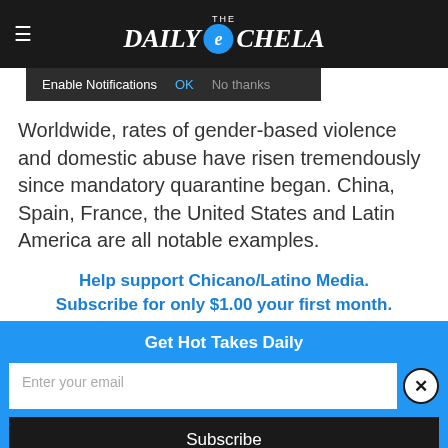THE DAILY e CHELA
Enable Notifications    OK    No thanks
Worldwide, rates of gender-based violence and domestic abuse have risen tremendously since mandatory quarantine began. China, Spain, France, the United States and Latin America are all notable examples.
Help support Chicano/Latino Media. Subscribe for only $1.00 your first month.
Get Hot Takes Daily
Enter your email
Subscribe